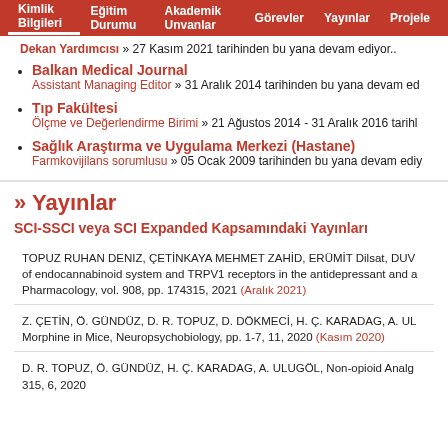Kimlik Bilgileri | Eğitim Durumu | Akademik Unvanlar | Görevler | Yayınlar | Projeler
Dekan Yardımcısı » 27 Kasım 2021 tarihinden bu yana devam ediyor..
Balkan Medical Journal
Assistant Managing Editor » 31 Aralık 2014 tarihinden bu yana devam ed
Tıp Fakültesi
Ölçme ve Değerlendirme Birimi » 21 Ağustos 2014 - 31 Aralık 2016 tarihl
Sağlık Araştırma ve Uygulama Merkezi (Hastane)
Farmkovijilans sorumlusu » 05 Ocak 2009 tarihinden bu yana devam ediy
» Yayınlar
SCI-SSCI veya SCI Expanded Kapsamındaki Yayınları
TOPUZ RUHAN DENIZ, ÇETİNKAYA MEHMET ZAHİD, ERÜMİT Dilsat, DUV... of endocannabinoid system and TRPV1 receptors in the antidepressant and a... Pharmacology, vol. 908, pp. 174315, 2021 (Aralık 2021)
Z. ÇETİN, Ö. GÜNDÜZ, D. R. TOPUZ, D. DÖKMECİ, H. Ç. KARADAG, A. UL... Morphine in Mice, Neuropsychobiology, pp. 1-7, 11, 2020 (Kasım 2020)
D. R. TOPUZ, Ö. GÜNDÜZ, H. Ç. KARADAG, A. ULUGÖL, Non-opioid Analg... 315, 6, 2020